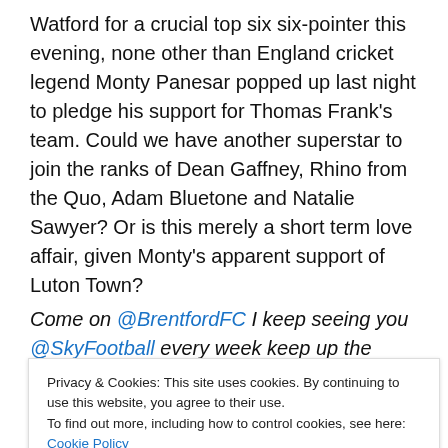Watford for a crucial top six six-pointer this evening, none other than England cricket legend Monty Panesar popped up last night to pledge his support for Thomas Frank's team. Could we have another superstar to join the ranks of Dean Gaffney, Rhino from the Quo, Adam Bluetone and Natalie Sawyer? Or is this merely a short term love affair, given Monty’s apparent support of Luton Town?
Come on @BrentfordFC I keep seeing you @SkyFootball every week keep up the momentum https://t.co/BDMkiu13io
Privacy & Cookies: This site uses cookies. By continuing to use this website, you agree to their use. To find out more, including how to control cookies, see here: Cookie Policy
have never been the best of friends, he says politely.